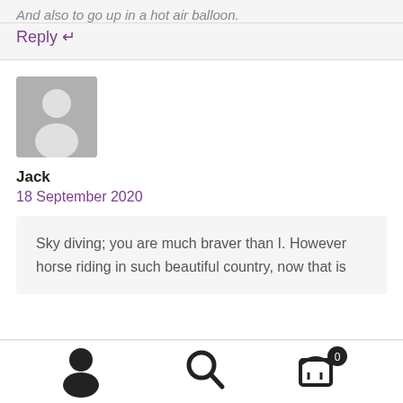And also to go up in a hot air balloon.
Reply ↩
[Figure (illustration): Generic user avatar placeholder — grey square with a white silhouette of a person]
Jack
18 September 2020
Sky diving; you are much braver than I. However horse riding in such beautiful country, now that is
[Figure (illustration): Bottom navigation bar with user icon, search icon, and shopping cart icon with badge showing 0]